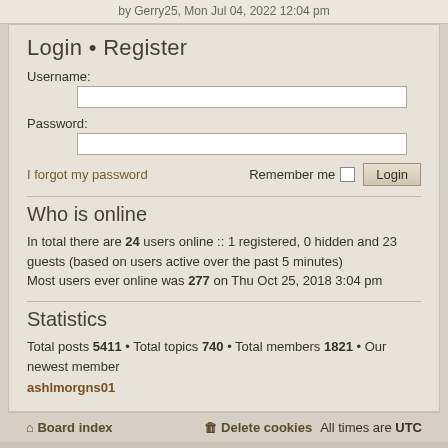by Gerry25, Mon Jul 04, 2022 12:04 pm
Login • Register
Username:
Password:
I forgot my password
Remember me
Who is online
In total there are 24 users online :: 1 registered, 0 hidden and 23 guests (based on users active over the past 5 minutes)
Most users ever online was 277 on Thu Oct 25, 2018 3:04 pm
Statistics
Total posts 5411 • Total topics 740 • Total members 1821 • Our newest member ashlmorgns01
Board index    Delete cookies    All times are UTC
Powered by phpBB® Forum Software © phpBB Limited
Style by Arty - phpBB 3.3 by MrGaby
Privacy | Terms